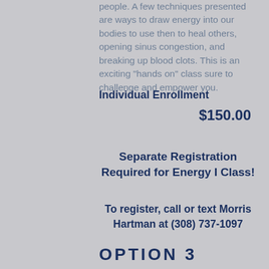people. A few techniques presented are ways to draw energy into our bodies to use then to heal others, opening sinus congestion, and breaking up blood clots. This is an exciting "hands on" class sure to challenge and empower you.
Individual Enrollment
$150.00
Separate Registration Required for Energy I Class!
To register, call or text Morris Hartman at (308) 737-1097
OPTION 3